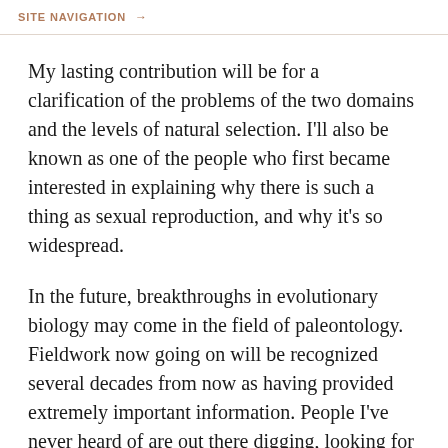SITE NAVIGATION →
My lasting contribution will be for a clarification of the problems of the two domains and the levels of natural selection. I'll also be known as one of the people who first became interested in explaining why there is such a thing as sexual reproduction, and why it's so widespread.
In the future, breakthroughs in evolutionary biology may come in the field of paleontology. Fieldwork now going on will be recognized several decades from now as having provided extremely important information. People I've never heard of are out there digging, looking for pollen grains in lake sediments, or dusting off trilobites from Paleozoic shales. Other important insights will come from people working in traditionally